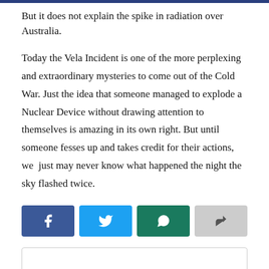But it does not explain the spike in radiation over Australia.
Today the Vela Incident is one of the more perplexing and extraordinary mysteries to come out of the Cold War. Just the idea that someone managed to explode a Nuclear Device without drawing attention to themselves is amazing in its own right. But until someone fesses up and takes credit for their actions, we  just may never know what happened the night the sky flashed twice.
[Figure (infographic): Row of four social share buttons: Facebook (dark blue), Twitter (light blue), WhatsApp (dark green), and a share/forward button (grey).]
[Figure (other): Comment input box, partially visible, with 'Read More' text below.]